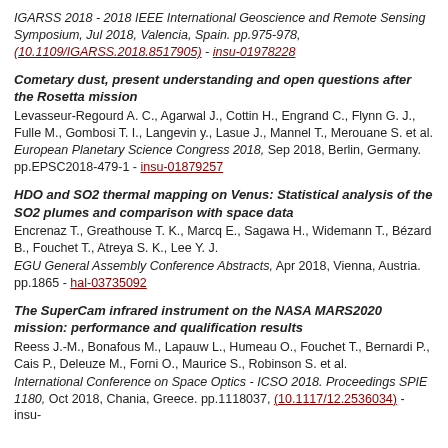IGARSS 2018 - 2018 IEEE International Geoscience and Remote Sensing Symposium, Jul 2018, Valencia, Spain. pp.975-978, (10.1109/IGARSS.2018.8517905) - insu-01978228
Cometary dust, present understanding and open questions after the Rosetta mission
Levasseur-Regourd A. C., Agarwal J., Cottin H., Engrand C., Flynn G. J., Fulle M., Gombosi T. I., Langevin y., Lasue J., Mannel T., Merouane S. et al.
European Planetary Science Congress 2018, Sep 2018, Berlin, Germany. pp.EPSC2018-479-1 - insu-01879257
HDO and SO2 thermal mapping on Venus: Statistical analysis of the SO2 plumes and comparison with space data
Encrenaz T., Greathouse T. K., Marcq E., Sagawa H., Widemann T., Bézard B., Fouchet T., Atreya S. K., Lee Y. J.
EGU General Assembly Conference Abstracts, Apr 2018, Vienna, Austria. pp.1865 - hal-03735092
The SuperCam infrared instrument on the NASA MARS2020 mission: performance and qualification results
Reess J.-M., Bonafous M., Lapauw L., Humeau O., Fouchet T., Bernardi P., Cais P., Deleuze M., Forni O., Maurice S., Robinson S. et al.
International Conference on Space Optics - ICSO 2018. Proceedings SPIE 1180, Oct 2018, Chania, Greece. pp.1118037, (10.1117/12.2536034) - insu-